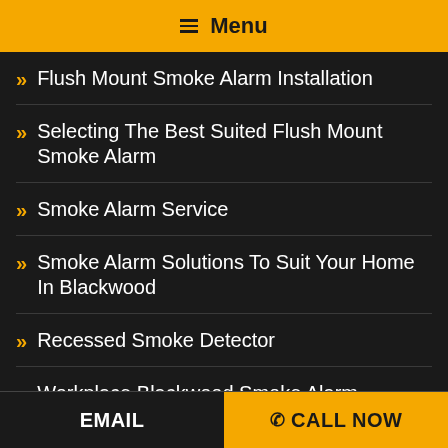☰ Menu
Flush Mount Smoke Alarm Installation
Selecting The Best Suited Flush Mount Smoke Alarm
Smoke Alarm Service
Smoke Alarm Solutions To Suit Your Home In Blackwood
Recessed Smoke Detector
Workplace Blackwood Smoke Alarm Recommendations
EMAIL   CALL NOW